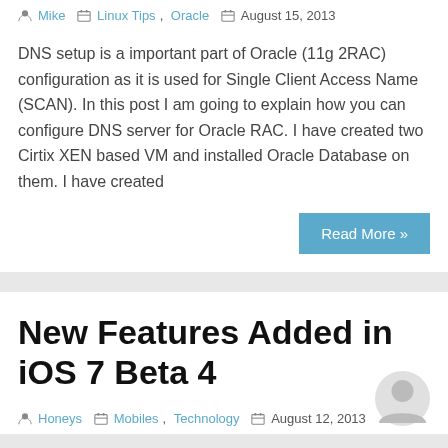Mike  Linux Tips, Oracle  August 15, 2013
DNS setup is a important part of Oracle (11g 2RAC) configuration as it is used for Single Client Access Name (SCAN). In this post I am going to explain how you can configure DNS server for Oracle RAC. I have created two Cirtix XEN based VM and installed Oracle Database on them. I have created
Read More »
New Features Added in iOS 7 Beta 4
Honeys  Mobiles, Technology  August 12, 2013